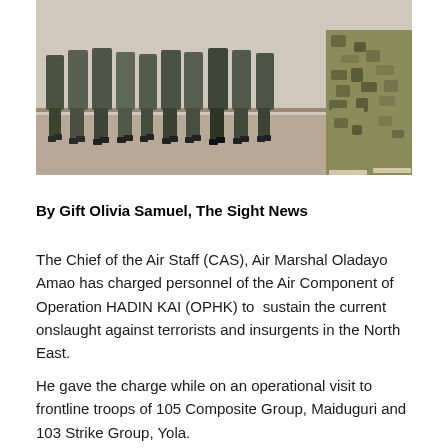[Figure (photo): Military personnel standing in a line on a paved surface; a soldier in camouflage uniform is visible on the right side]
By Gift Olivia Samuel, The Sight News
The Chief of the Air Staff (CAS), Air Marshal Oladayo Amao has charged personnel of the Air Component of Operation HADIN KAI (OPHK) to sustain the current onslaught against terrorists and insurgents in the North East.
He gave the charge while on an operational visit to frontline troops of 105 Composite Group, Maiduguri and 103 Strike Group, Yola.